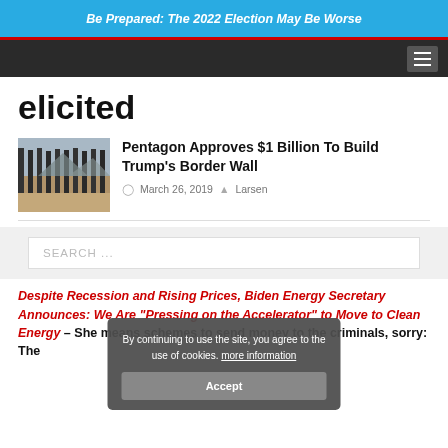Be Prepared: The 2022 Election May Be Worse
elicited
Pentagon Approves $1 Billion To Build Trump's Border Wall
March 26, 2019  Larsen
SEARCH ...
By continuing to use the site, you agree to the use of cookies. more information Accept
Despite Recession and Rising Prices, Biden Energy Secretary Announces: We Are "Pressing on the Accelerator" to Move to Clean Energy – She means schemes to send money to the criminals, sorry: The